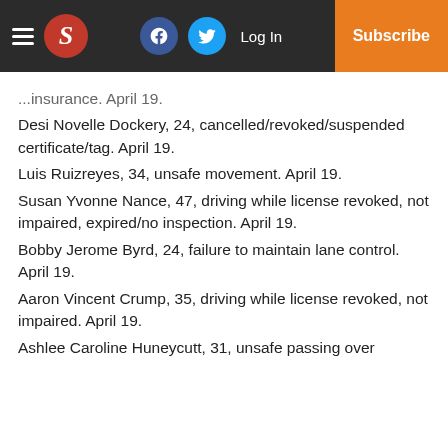S (logo) | Facebook | Twitter | Log In | Subscribe
...insurance. April 19.
Desi Novelle Dockery, 24, cancelled/revoked/suspended certificate/tag. April 19.
Luis Ruizreyes, 34, unsafe movement. April 19.
Susan Yvonne Nance, 47, driving while license revoked, not impaired, expired/no inspection. April 19.
Bobby Jerome Byrd, 24, failure to maintain lane control. April 19.
Aaron Vincent Crump, 35, driving while license revoked, not impaired. April 19.
Ashlee Caroline Huneycutt, 31, unsafe passing over